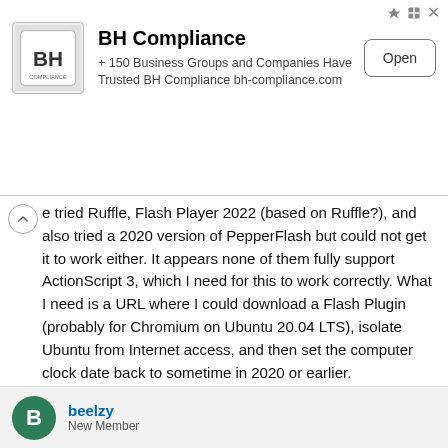[Figure (other): BH Compliance advertisement banner with logo, description text, and Open button]
e tried Ruffle, Flash Player 2022 (based on Ruffle?), and also tried a 2020 version of PepperFlash but could not get it to work either. It appears none of them fully support ActionScript 3, which I need for this to work correctly. What I need is a URL where I could download a Flash Plugin (probably for Chromium on Ubuntu 20.04 LTS), isolate Ubuntu from Internet access, and then set the computer clock date back to sometime in 2020 or earlier.
In other words, I'd use an old laptop for test equipment control and nothing else. Or..... I wait until Ruffle fully supports AS3; apparently they are working on it.
Thanks again for all the replies and suggestions.
beelzy
New Member